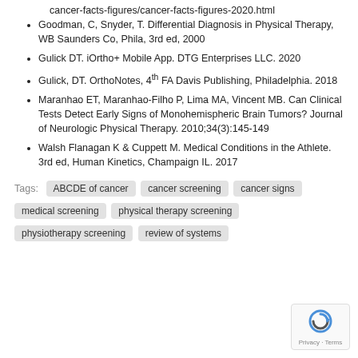cancer-facts-figures/cancer-facts-figures-2020.html
Goodman, C, Snyder, T. Differential Diagnosis in Physical Therapy, WB Saunders Co, Phila, 3rd ed, 2000
Gulick DT. iOrtho+ Mobile App. DTG Enterprises LLC. 2020
Gulick, DT. OrthoNotes, 4th FA Davis Publishing, Philadelphia. 2018
Maranhao ET, Maranhao-Filho P, Lima MA, Vincent MB. Can Clinical Tests Detect Early Signs of Monohemispheric Brain Tumors? Journal of Neurologic Physical Therapy. 2010;34(3):145-149
Walsh Flanagan K & Cuppett M. Medical Conditions in the Athlete. 3rd ed, Human Kinetics, Champaign IL. 2017
Tags: ABCDE of cancer  cancer screening  cancer signs  medical screening  physical therapy screening  physiotherapy screening  review of systems